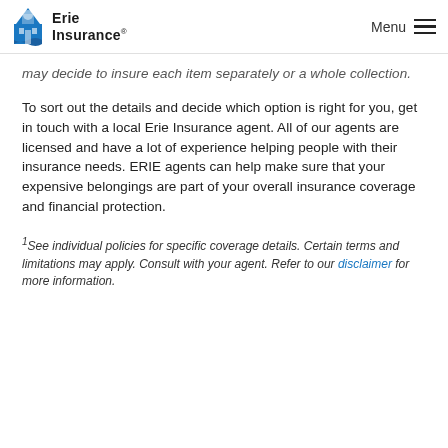Erie Insurance — Menu
may decide to insure each item separately or a whole collection.
To sort out the details and decide which option is right for you, get in touch with a local Erie Insurance agent. All of our agents are licensed and have a lot of experience helping people with their insurance needs. ERIE agents can help make sure that your expensive belongings are part of your overall insurance coverage and financial protection.
1See individual policies for specific coverage details. Certain terms and limitations may apply. Consult with your agent. Refer to our disclaimer for more information.